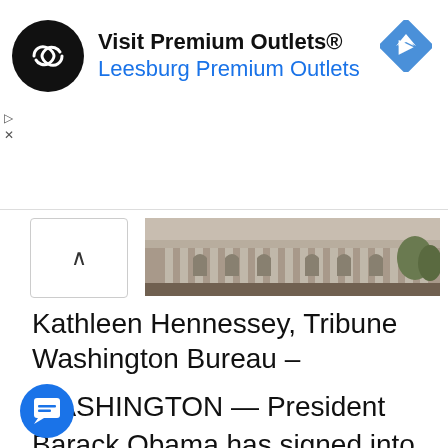[Figure (advertisement): Visit Premium Outlets® advertisement banner with infinity logo, Leesburg Premium Outlets subtitle, and blue navigation diamond icon]
[Figure (photo): Exterior photo of a large neoclassical government building (appears to be the US Capitol area), with stone columns and facade visible]
Kathleen Hennessey, Tribune Washington Bureau –
WASHINGTON — President Barack Obama has signed into law a bill aimed at giving small businesses more access to capital, touting the measure as a step toward job